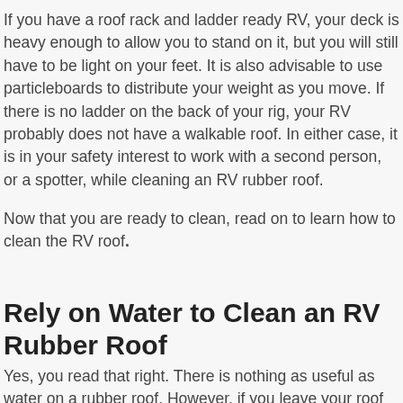If you have a roof rack and ladder ready RV, your deck is heavy enough to allow you to stand on it, but you will still have to be light on your feet. It is also advisable to use particleboards to distribute your weight as you move. If there is no ladder on the back of your rig, your RV probably does not have a walkable roof. In either case, it is in your safety interest to work with a second person, or a spotter, while cleaning an RV rubber roof.
Now that you are ready to clean, read on to learn how to clean the RV roof.
Rely on Water to Clean an RV Rubber Roof
Yes, you read that right. There is nothing as useful as water on a rubber roof. However, if you leave your roof to